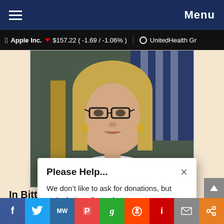Menu
Apple Inc. ▼ $157.22 ( -1.69 / -1.06% ) UnitedHealth Gr
[Figure (photo): Photo of Liz Cheney, a blonde woman with glasses, speaking at what appears to be a congressional hearing, with an American flag in the background.]
In Bitterness, RINO Liz Cheney is Closer to
Please Help...
We don't like to ask for donations, but we're being silenced at every turn...
Thank you!